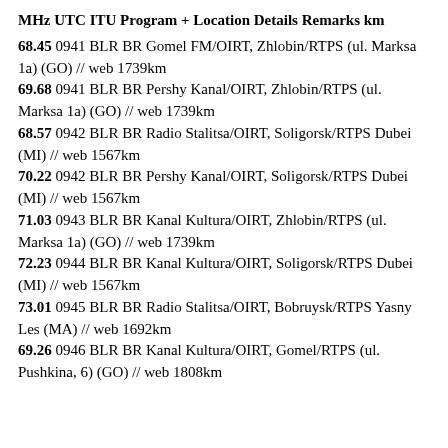MHz UTC ITU Program + Location Details Remarks km
68.45 0941 BLR BR Gomel FM/OIRT, Zhlobin/RTPS (ul. Marksa 1a) (GO) // web 1739km
69.68 0941 BLR BR Pershy Kanal/OIRT, Zhlobin/RTPS (ul. Marksa 1a) (GO) // web 1739km
68.57 0942 BLR BR Radio Stalitsa/OIRT, Soligorsk/RTPS Dubai (MI) // web 1567km
70.22 0942 BLR BR Pershy Kanal/OIRT, Soligorsk/RTPS Dubai (MI) // web 1567km
71.03 0943 BLR BR Kanal Kultura/OIRT, Zhlobin/RTPS (ul. Marksa 1a) (GO) // web 1739km
72.23 0944 BLR BR Kanal Kultura/OIRT, Soligorsk/RTPS Dubai (MI) // web 1567km
73.01 0945 BLR BR Radio Stalitsa/OIRT, Bobruysk/RTPS Yasny Les (MA) // web 1692km
69.26 0946 BLR BR Kanal Kultura/OIRT, Gomel/RTPS (ul. Pushkina, 6) (GO) // web 1808km